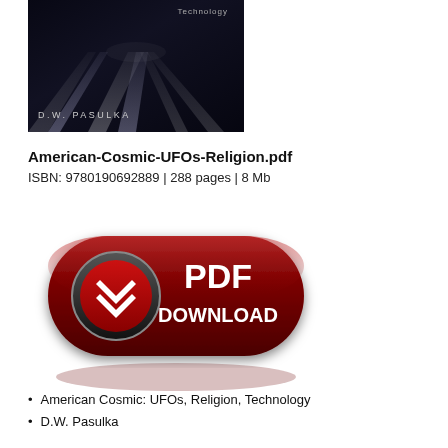[Figure (photo): Book cover for 'American Cosmic: UFOs, Religion, Technology' by D.W. Pasulka — dark background with road/highway vanishing point lines, author name in light text, 'Technology' label at top right]
American-Cosmic-UFOs-Religion.pdf
ISBN: 9780190692889 | 288 pages | 8 Mb
[Figure (illustration): Red glossy pill-shaped PDF DOWNLOAD button with chevron/arrow icon on left side]
American Cosmic: UFOs, Religion, Technology
D.W. Pasulka